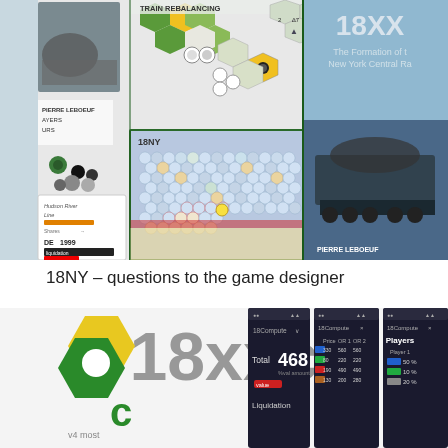[Figure (photo): Composite image showing 18NY board game components on the left (hexagonal map tiles with train tokens, yellow and green hexes, game board), and a book cover on the right showing 'The Formation of the New York Central Railroad' by Pierre Leboeuf with a steam locomotive photograph.]
18NY – questions to the game designer
[Figure (photo): 18xxc app screenshots showing: a yellow/green logo on the left, a dark-themed mobile app screen showing 'Total 468' and 'Liquidation', another screen showing a data table with columns Price, OR1, OR2 and rows with values 330/560/560, 80/220/220, 190/490/490, 130/200/280, and a screen showing 'Players' with Player 1 at 50%, green at 10%, and another at 20%.]